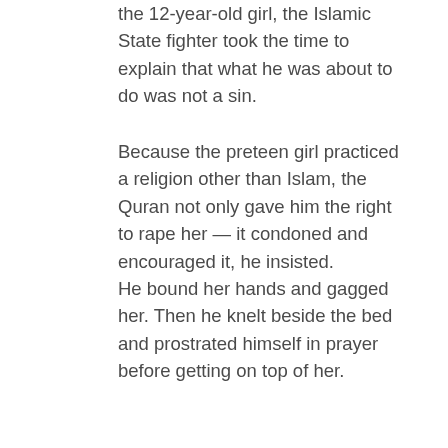the 12-year-old girl, the Islamic State fighter took the time to explain that what he was about to do was not a sin.
Because the preteen girl practiced a religion other than Islam, the Quran not only gave him the right to rape her — it condoned and encouraged it, he insisted. He bound her hands and gagged her. Then he knelt beside the bed and prostrated himself in prayer before getting on top of her.
When it was over, he knelt to pray again, bookending the rape with acts of religious devotion....
The systematic rape of women and girls from the Yazidi religious minority has become deeply enmeshed in the organization and the radical theology of the Islamic State in the year since the group announced it was reviving slavery as an institution. Interviews with 21 women and girls who were then used the Islamic State sexually